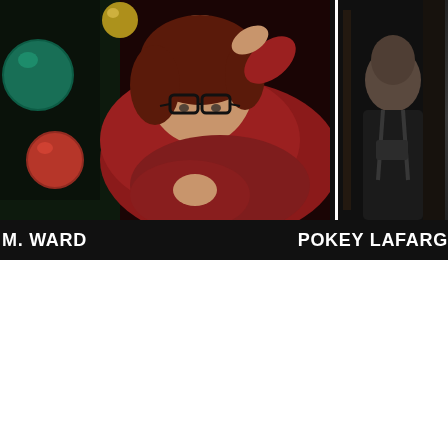[Figure (photo): Photo of a woman with glasses wearing a red top, lying back near Christmas ornaments (green and red baubles). Name label below reads 'M. WARD'.]
[Figure (photo): Partially visible photo of a person (POKEY LAFARGE) in darker tones, partially cropped on the right edge.]
M. WARD
POKEY LAFARG
BE THE FIRST TO KNOW
Subscribe for show updates, ticket alerts, merch deals and exclusive subscriber perks.
Email *